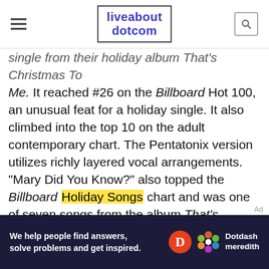liveabout dotcom
single from their holiday album That's Christmas To Me. It reached #26 on the Billboard Hot 100, an unusual feat for a holiday single. It also climbed into the top 10 on the adult contemporary chart. The Pentatonix version utilizes richly layered vocal arrangements. "Mary Did You Know?" also topped the Billboard Holiday Songs chart and was one of seven songs from the album That's Christmas To Me to reach the chart.

"Mary, Did You Know?" was written by Mark Lowry of the Gaither Vocal Band and Buddy Greene. It was first recorded by Christian artist Michael English
[Figure (other): Dotdash Meredith advertisement banner: 'We help people find answers, solve problems and get inspired.']